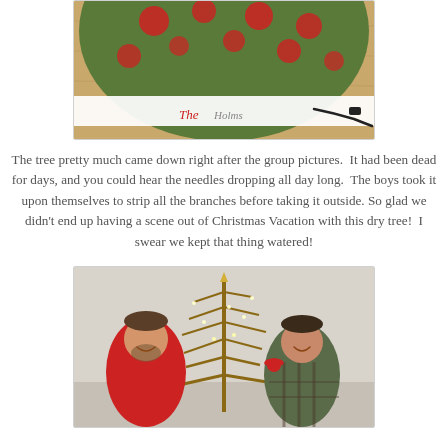[Figure (photo): Close-up photo of a Christmas tree skirt with red and green pattern, white trim with decorative text, on a wooden floor with a black cord visible]
The tree pretty much came down right after the group pictures.  It had been dead for days, and you could hear the needles dropping all day long.  The boys took it upon themselves to strip all the branches before taking it outside.  So glad we didn't end up having a scene out of Christmas Vacation with this dry tree!  I swear we kept that thing watered!
[Figure (photo): Two young men smiling next to a sparse, dead-looking Christmas tree with a few remaining lights, one wearing a red shirt and the other a plaid flannel shirt with a red ribbon on his shoulder]